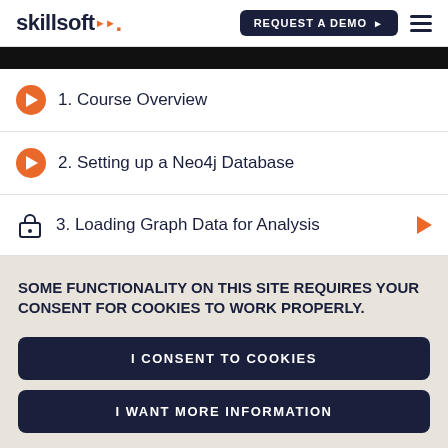skillsoft | REQUEST A DEMO
1. Course Overview
2. Setting up a Neo4j Database
3. Loading Graph Data for Analysis
SOME FUNCTIONALITY ON THIS SITE REQUIRES YOUR CONSENT FOR COOKIES TO WORK PROPERLY.
I CONSENT TO COOKIES
I WANT MORE INFORMATION